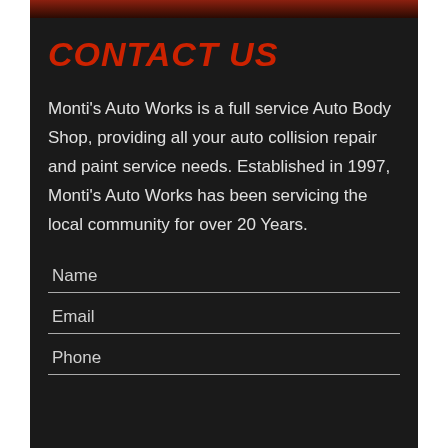CONTACT US
Monti's Auto Works is a full service Auto Body Shop, providing all your auto collision repair and paint service needs. Established in 1997, Monti's Auto Works has been servicing the local community for over 20 Years.
Name
Email
Phone